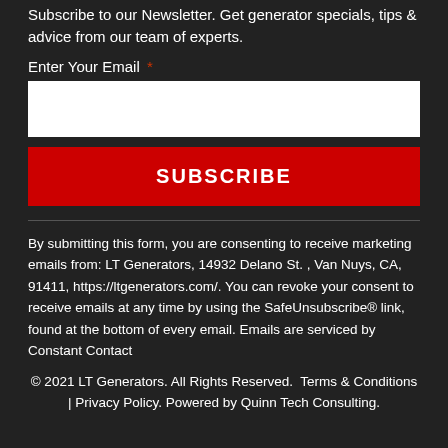Subscribe to our Newsletter. Get generator specials, tips & advice from our team of experts.
Enter Your Email *
SUBSCRIBE
By submitting this form, you are consenting to receive marketing emails from: LT Generators, 14932 Delano St. , Van Nuys, CA, 91411, https://ltgenerators.com/. You can revoke your consent to receive emails at any time by using the SafeUnsubscribe® link, found at the bottom of every email. Emails are serviced by Constant Contact
© 2021 LT Generators. All Rights Reserved.  Terms & Conditions | Privacy Policy. Powered by Quinn Tech Consulting.